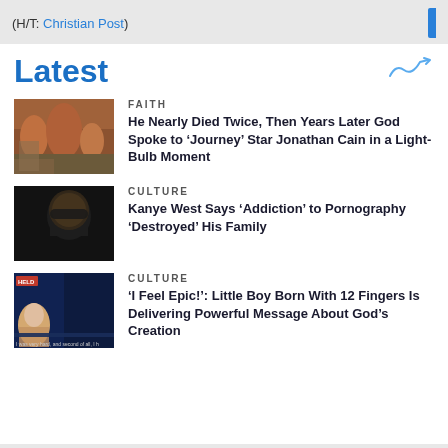(H/T: Christian Post)
Latest
FAITH
He Nearly Died Twice, Then Years Later God Spoke to ‘Journey’ Star Jonathan Cain in a Light-Bulb Moment
CULTURE
Kanye West Says ‘Addiction’ to Pornography ‘Destroyed’ His Family
CULTURE
‘I Feel Epic!’: Little Boy Born With 12 Fingers Is Delivering Powerful Message About God’s Creation